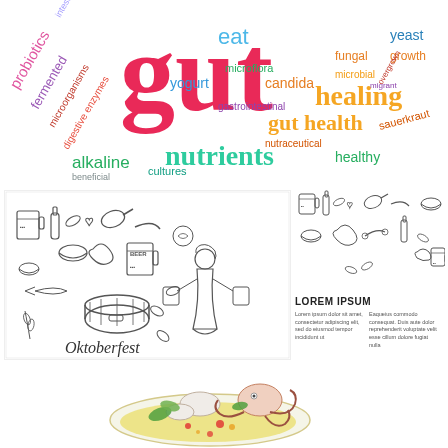[Figure (infographic): Colorful word cloud about gut health featuring words: gut (large pink), gut health, healing, nutrients, probiotics, fermented, microorganisms, digestive enzymes, alkaline, cultures, yogurt, eat, microflora, candida, gastrointestinal, nutraceutical, fungal, microbial, yeast, growth, healthy, sauerkraut, beneficial, intestinal line]
[Figure (illustration): Hand-drawn doodle style Oktoberfest illustration with beer mugs, bottles, pretzel, foods, a barrel, and a woman in dirndl. Text reads Oktoberfest at bottom.]
[Figure (illustration): Hand-drawn doodle Oktoberfest food items: beer mugs, bottles, meats, pretzel, bowls, leaves arranged horizontally]
LOREM IPSUM
Lorem ipsum dolor sit amet, consectetur adipiscing elit, sed do eiusmod tempor incididunt ut
Eaqueius commodo consequat. Duis aute dolor reprehenderit voluptate velit esse cillum dolore fugiat nulla
[Figure (photo): Photograph of a seafood/salad dish with octopus, vegetables, and garnishes on a plate]